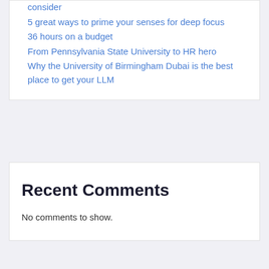consider
5 great ways to prime your senses for deep focus
36 hours on a budget
From Pennsylvania State University to HR hero
Why the University of Birmingham Dubai is the best place to get your LLM
Recent Comments
No comments to show.